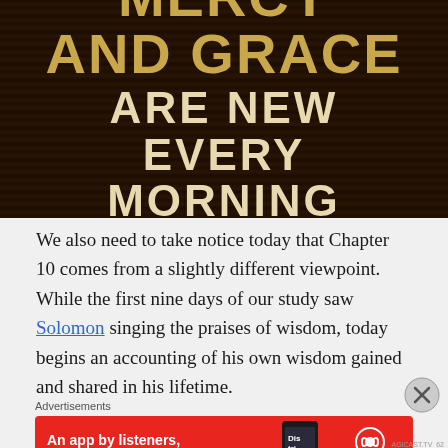[Figure (photo): Dark wood-textured background with gold and cream text reading 'MERCY AND GRACE ARE NEW EVERY MORNING' with a scripture reference tag 'Lamentations 3:23' at the bottom]
We also need to take notice today that Chapter 10 comes from a slightly different viewpoint. While the first nine days of our study saw Solomon singing the praises of wisdom, today begins an accounting of his own wisdom gained and shared in his lifetime.
Advertisements
[Figure (illustration): Red advertisement banner for Pocket Casts app reading 'An app by listeners, for listeners.' with a phone image and Pocket Casts logo]